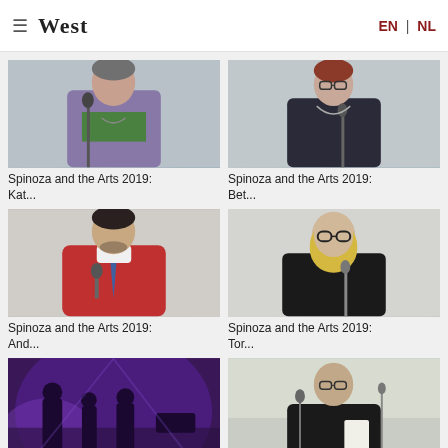West | EN | NL
[Figure (photo): Person standing at microphone, wearing purple jacket over green top]
Spinoza and the Arts 2019: Kat...
[Figure (photo): Woman with glasses speaking at microphone, dark jacket]
Spinoza and the Arts 2019: Bet...
[Figure (photo): Man in red sweater holding microphone, speaking]
Spinoza and the Arts 2019: And...
[Figure (photo): Blonde woman with glasses in black top holding microphone]
Spinoza and the Arts 2019: Tor...
[Figure (photo): Purple-lit stage with performers, concert/performance scene]
West x Trixie Matinee: Salò M
[Figure (photo): Bald man with glasses in black polo speaking at microphone outdoors]
De toekomst van het Nieuwe